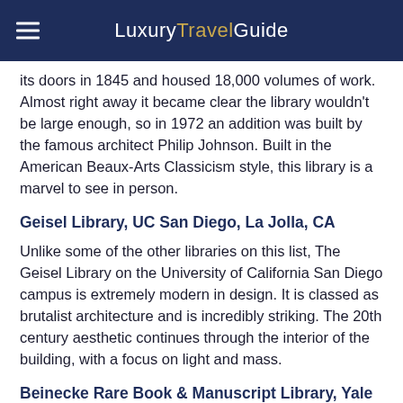Luxury Travel Guide
its doors in 1845 and housed 18,000 volumes of work. Almost right away it became clear the library wouldn't be large enough, so in 1972 an addition was built by the famous architect Philip Johnson. Built in the American Beaux-Arts Classicism style, this library is a marvel to see in person.
Geisel Library, UC San Diego, La Jolla, CA
Unlike some of the other libraries on this list, The Geisel Library on the University of California San Diego campus is extremely modern in design. It is classed as brutalist architecture and is incredibly striking. The 20th century aesthetic continues through the interior of the building, with a focus on light and mass.
Beinecke Rare Book & Manuscript Library, Yale University, New Haven, CT